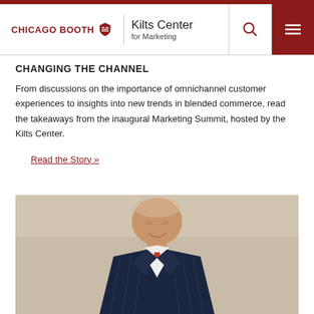CHICAGO BOOTH | Kilts Center for Marketing
CHANGING THE CHANNEL
From discussions on the importance of omnichannel customer experiences to insights into new trends in blended commerce, read the takeaways from the inaugural Marketing Summit, hosted by the Kilts Center.
Read the Story »
[Figure (photo): A smiling older man in a navy pinstripe suit with a red patterned tie, speaking at an event, photographed against a blurred light background.]